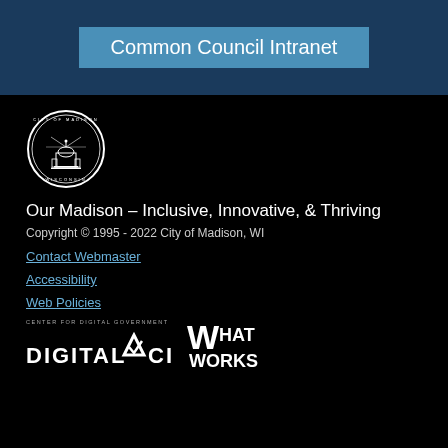Common Council Intranet
[Figure (logo): City of Madison Wisconsin circular seal/logo in white on black background]
Our Madison – Inclusive, Innovative, & Thriving
Copyright © 1995 - 2022 City of Madison, WI
Contact Webmaster
Accessibility
Web Policies
[Figure (logo): Center for Digital Government - Digital Cities logo (white text/graphic on black background)]
[Figure (logo): What Works logo (white text on black background)]